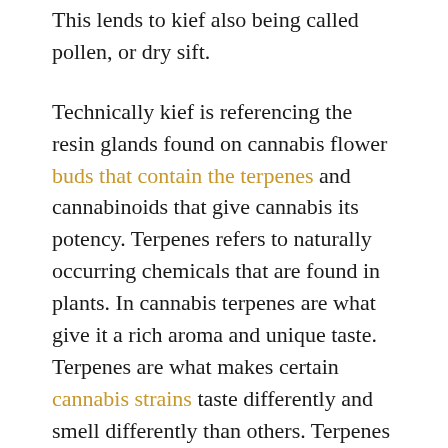This lends to kief also being called pollen, or dry sift.
Technically kief is referencing the resin glands found on cannabis flower buds that contain the terpenes and cannabinoids that give cannabis its potency. Terpenes refers to naturally occurring chemicals that are found in plants. In cannabis terpenes are what give it a rich aroma and unique taste. Terpenes are what makes certain cannabis strains taste differently and smell differently than others. Terpenes do not themselves make one feel high or have strong psychoactive effects. Instead, they work alongside THC and CBD.
THC stands for tetrahydrocannabinol, which is the